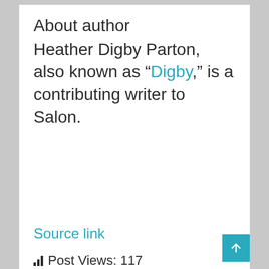About author
Heather Digby Parton, also known as “Digby,” is a contributing writer to Salon.
Source link
Post Views: 117